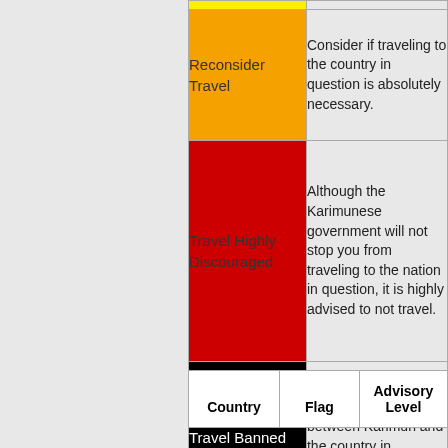| Level | Description |
| --- | --- |
| (yellow) |  |
| Reconsider Travel | Consider if traveling to the country in question is absolutely necessary. |
| Travel Highly Discouraged | Although the Karimunese government will not stop you from traveling to the nation in question, it is highly advised to not travel. |
| Travel Banned | No travel is allowed between Karimun and the country in question. |
| Country | Flag | Advisory Level |
| --- | --- | --- |